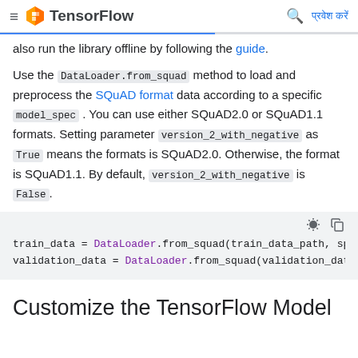TensorFlow — प्रवेश करें
also run the library offline by following the guide.
Use the DataLoader.from_squad method to load and preprocess the SQuAD format data according to a specific model_spec. You can use either SQuAD2.0 or SQuAD1.1 formats. Setting parameter version_2_with_negative as True means the formats is SQuAD2.0. Otherwise, the format is SQuAD1.1. By default, version_2_with_negative is False.
[Figure (screenshot): Code block showing: train_data = DataLoader.from_squad(train_data_path, sp  and  validation_data = DataLoader.from_squad(validation_dat]
Customize the TensorFlow Model